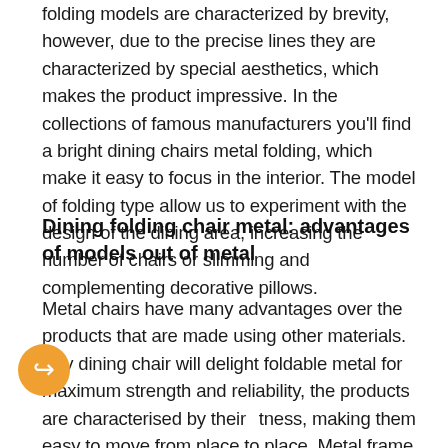folding models are characterized by brevity, however, due to the precise lines they are characterized by special aesthetics, which makes the product impressive. In the collections of famous manufacturers you'll find a bright dining chairs metal folding, which make it easy to focus in the interior. The model of folding type allow us to experiment with the design of the dining area, increasing the number of chairs or slimming and complementing decorative pillows.
Dining folding chair metal: advantages of models out of metal
Metal chairs have many advantages over the products that are made using other materials. Any dining chair will delight foldable metal for maximum strength and reliability, the products are characterised by their lightness, making them easy to move from place to place. Metal frame ensures that these chairs can handle